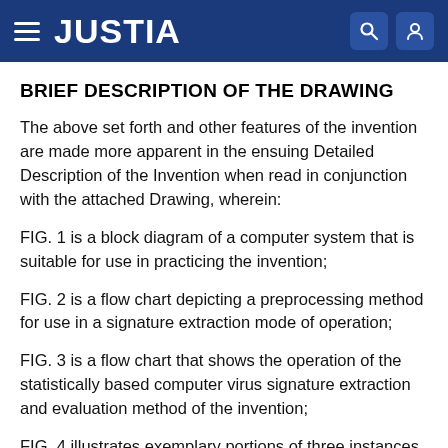JUSTIA
BRIEF DESCRIPTION OF THE DRAWING
The above set forth and other features of the invention are made more apparent in the ensuing Detailed Description of the Invention when read in conjunction with the attached Drawing, wherein:
FIG. 1 is a block diagram of a computer system that is suitable for use in practicing the invention;
FIG. 2 is a flow chart depicting a preprocessing method for use in a signature extraction mode of operation;
FIG. 3 is a flow chart that shows the operation of the statistically based computer virus signature extraction and evaluation method of the invention;
FIG. 4 illustrates exemplary portions of three instances